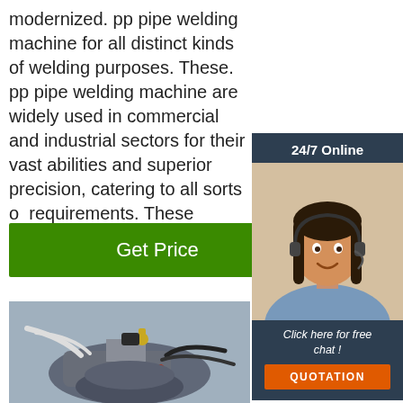modernized. pp pipe welding machine for all distinct kinds of welding purposes. These. pp pipe welding machine are widely used in commercial and industrial sectors for their vast abilities and superior precision, catering to all sorts of requirements. These machines are certif tested by ...
[Figure (screenshot): 24/7 Online support sidebar banner with a photo of a customer service representative (woman with headset), 'Click here for free chat!' text, and an orange QUOTATION button]
[Figure (photo): Close-up photograph of a pp pipe welding machine with hoses and components visible]